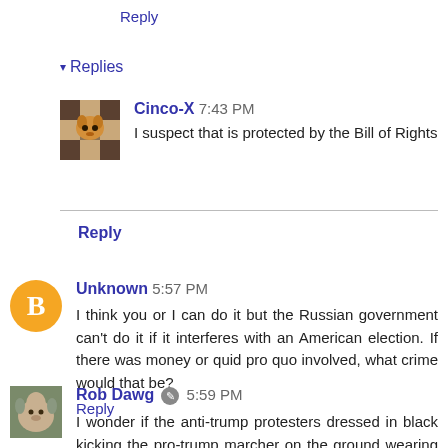Reply
▾ Replies
Cinco-X 7:43 PM
I suspect that is protected by the Bill of Rights
Reply
Unknown 5:57 PM
I think you or I can do it but the Russian government can't do it if it interferes with an American election. If there was money or quid pro quo involved, what crime would that be?
Reply
Rob Dawg 5:59 PM
I wonder if the anti-trump protesters dressed in black kicking the pro-trump marcher on the ground wearing an